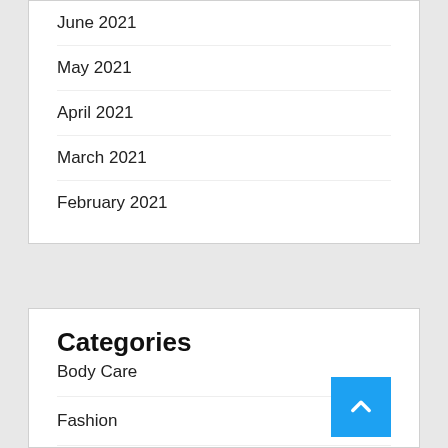June 2021
May 2021
April 2021
March 2021
February 2021
Categories
Body Care
Fashion
Hairstyles
Jewelry